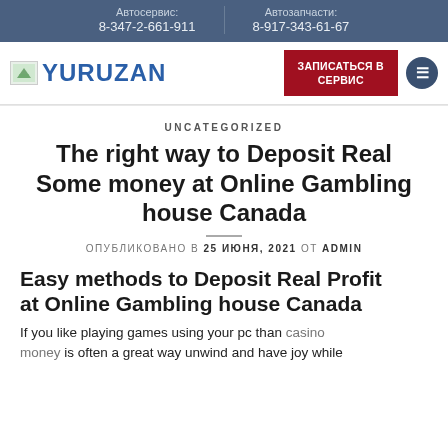Автосервис: 8-347-2-661-911 | Автозапчасти: 8-917-343-61-67
[Figure (logo): Yuruzan website logo with small icon and blue text YURUZAN]
ЗАПИСАТЬСЯ В СЕРВИС
UNCATEGORIZED
The right way to Deposit Real Some money at Online Gambling house Canada
ОПУБЛИКОВАНО В 25 ИЮНЯ, 2021 ОТ ADMIN
Easy methods to Deposit Real Profit at Online Gambling house Canada
If you like playing games using your pc than casino money is often a great way unwind and have joy while